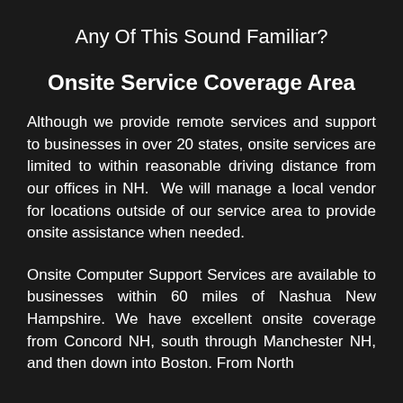Any Of This Sound Familiar?
Onsite Service Coverage Area
Although we provide remote services and support to businesses in over 20 states, onsite services are limited to within reasonable driving distance from our offices in NH.  We will manage a local vendor for locations outside of our service area to provide onsite assistance when needed.
Onsite Computer Support Services are available to businesses within 60 miles of Nashua New Hampshire. We have excellent onsite coverage from Concord NH, south through Manchester NH, and then down into Boston. From North...